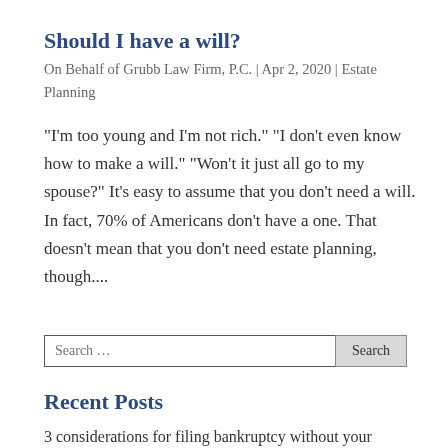Should I have a will?
On Behalf of Grubb Law Firm, P.C. | Apr 2, 2020 | Estate Planning
“I’m too young and I’m not rich.” “I don’t even know how to make a will.” “Won’t it just all go to my spouse?” It’s easy to assume that you don’t need a will. In fact, 70% of Americans don’t have a one. That doesn’t mean that you don’t need estate planning, though....
Recent Posts
3 considerations for filing bankruptcy without your